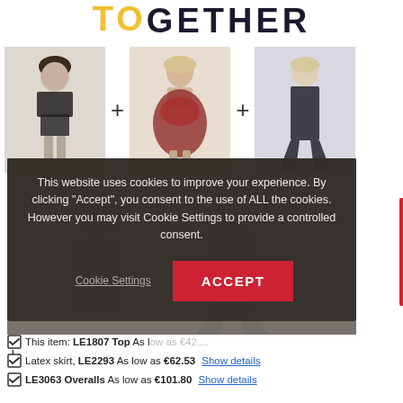GETHER
[Figure (photo): Three fashion/fetish model photos arranged in a row with plus signs between them. Left: woman in black latex top and shorts. Center: woman in red mesh skirt. Right: woman in dark overalls/jumpsuit with flared legs.]
This website uses cookies to improve your experience. By clicking “Accept”, you consent to the use of ALL the cookies. However you may visit Cookie Settings to provide a controlled consent.
✓ This item: LE1807 Top  As low as ... Show details
✓ Latex skirt, LE2293  As low as €62.53 Show details
✓ LE3063 Overalls  As low as €101.80 Show details